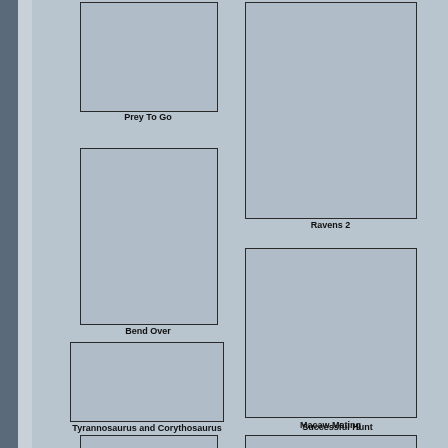[Figure (photo): Placeholder image thumbnail]
Prey To Go
[Figure (photo): Placeholder image thumbnail]
Ravens 2
[Figure (photo): Placeholder image thumbnail]
Bend Over
[Figure (photo): Placeholder image thumbnail]
Macaw Mating
[Figure (photo): Placeholder image thumbnail]
Tyrannosaurus and Corythosaurus
[Figure (photo): Placeholder image thumbnail]
Successful Hunt
[Figure (photo): Placeholder image thumbnail (partial, bottom)]
[Figure (photo): Placeholder image thumbnail (partial, bottom)]